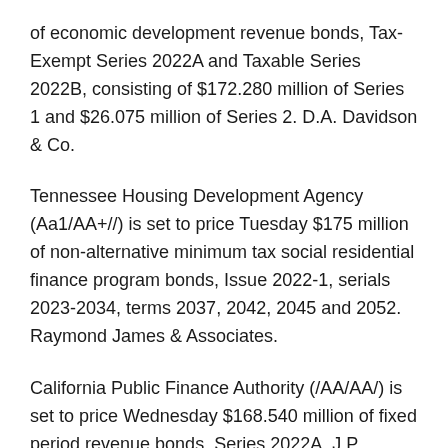of economic development revenue bonds, Tax-Exempt Series 2022A and Taxable Series 2022B, consisting of $172.280 million of Series 1 and $26.075 million of Series 2. D.A. Davidson & Co.
Tennessee Housing Development Agency (Aa1/AA+//) is set to price Tuesday $175 million of non-alternative minimum tax social residential finance program bonds, Issue 2022-1, serials 2023-2034, terms 2037, 2042, 2045 and 2052. Raymond James & Associates.
California Public Finance Authority (/AA/AA/) is set to price Wednesday $168.540 million of fixed period revenue bonds, Series 2022A. J.P. Morgan Securities.
North Carolina Housing Finance Agency (Aa1/AA+//) is set to price Wednesday $150 million of non-alternative